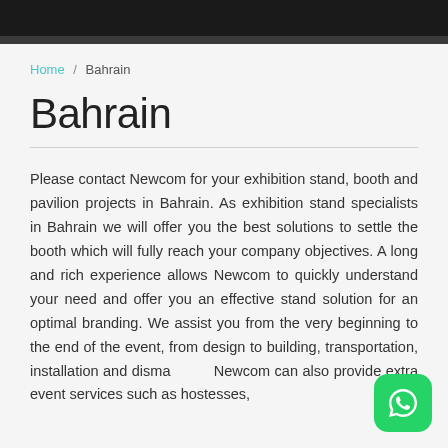Home / Bahrain
Bahrain
Please contact Newcom for your exhibition stand, booth and pavilion projects in Bahrain. As exhibition stand specialists in Bahrain we will offer you the best solutions to settle the booth which will fully reach your company objectives. A long and rich experience allows Newcom to quickly understand your need and offer you an effective stand solution for an optimal branding. We assist you from the very beginning to the end of the event, from design to building, transportation, installation and dismantling. Newcom can also provide extra event services such as hostesses,